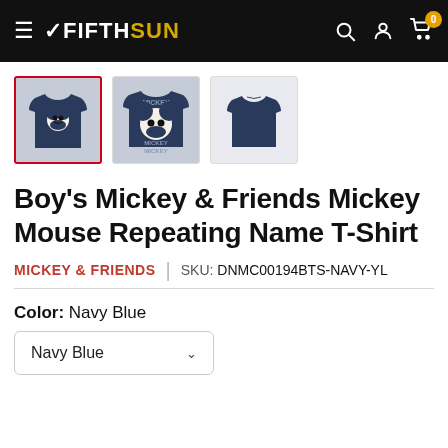Fifth Sun navigation header with logo, search, account, and cart icons
[Figure (photo): Three product thumbnail images of a navy blue Mickey Mouse Repeating Name T-Shirt: front view selected (red border), back view, and plain back view]
Boy's Mickey & Friends Mickey Mouse Repeating Name T-Shirt
MICKEY & FRIENDS | SKU: DNMC00194BTS-NAVY-YL
Color: Navy Blue
Navy Blue